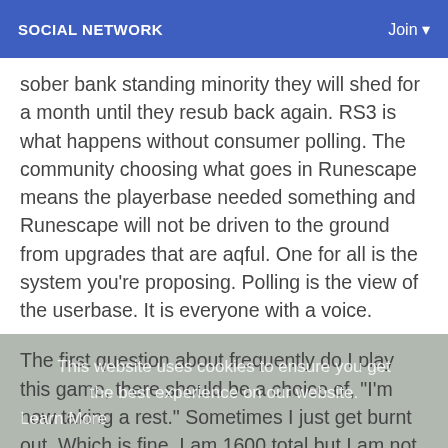SOCIAL NETWORK   Join
sober bank standing minority they will shed for a month until they resub back again. RS3 is what happens without consumer polling. The community choosing what goes in Runescape means the playerbase needed something and Runescape will not be driven to the ground from upgrades that are aqful. One for all is the system you're proposing. Polling is the view of the userbase. It is everyone with a voice.
The first question about frequently do I play this game, there should be a choice of, "I'm now taking a rest." Sometimes I just get burnt out. Which is fine. I am 1600 total but I am not too efficient or fight focused so that I haven't bossed or completed master quests.
Therefore it didn't give me an option to state I don't know when it came to those questions. I set neutral